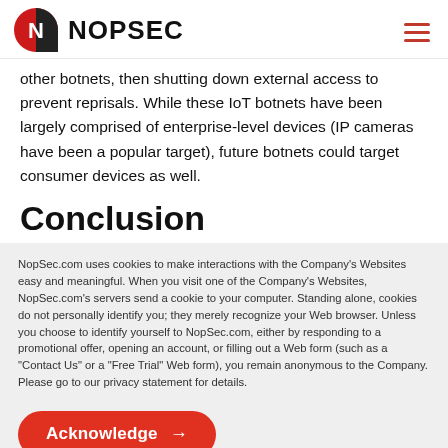NOPSEC
other botnets, then shutting down external access to prevent reprisals. While these IoT botnets have been largely comprised of enterprise-level devices (IP cameras have been a popular target), future botnets could target consumer devices as well.
Conclusion
NopSec.com uses cookies to make interactions with the Company's Websites easy and meaningful. When you visit one of the Company's Websites, NopSec.com's servers send a cookie to your computer. Standing alone, cookies do not personally identify you; they merely recognize your Web browser. Unless you choose to identify yourself to NopSec.com, either by responding to a promotional offer, opening an account, or filling out a Web form (such as a "Contact Us" or a "Free Trial" Web form), you remain anonymous to the Company. Please go to our privacy statement for details.
Acknowledge →